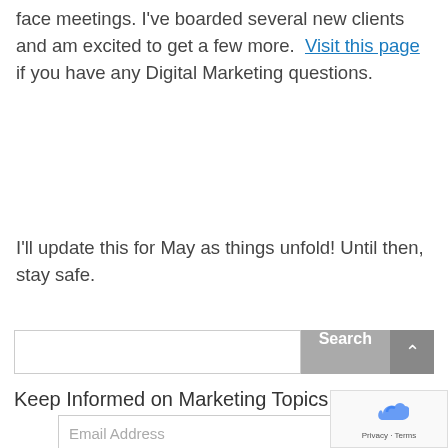face meetings.  I've boarded several new clients and am excited to get a few more.  Visit this page if you have any Digital Marketing questions.
I'll update this for May as things unfold!  Until then, stay safe.
Search [search box]
Keep Informed on Marketing Topics & Biz
Email Address [input field]
[Figure (other): reCAPTCHA widget with Privacy and Terms links]